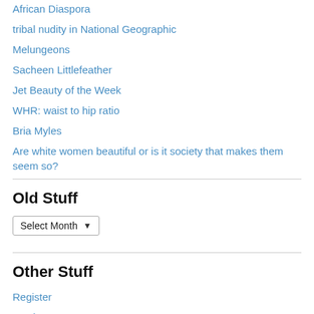African Diaspora
tribal nudity in National Geographic
Melungeons
Sacheen Littlefeather
Jet Beauty of the Week
WHR: waist to hip ratio
Bria Myles
Are white women beautiful or is it society that makes them seem so?
Old Stuff
Select Month
Other Stuff
Register
Log in
Entries feed